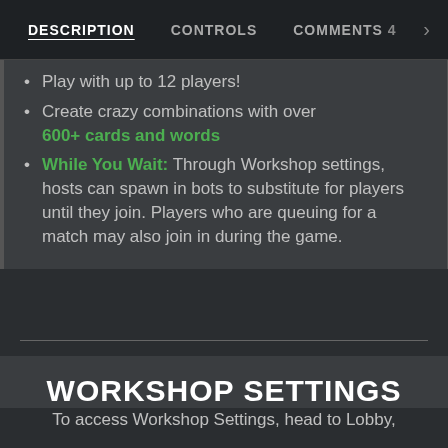DESCRIPTION   CONTROLS   COMMENTS 4   >
Play with up to 12 players!
Create crazy combinations with over 600+ cards and words
While You Wait: Through Workshop settings, hosts can spawn in bots to substitute for players until they join. Players who are queuing for a match may also join in during the game.
WORKSHOP SETTINGS
To access Workshop Settings, head to Lobby,